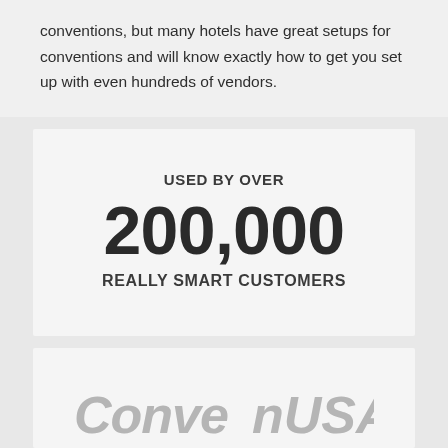conventions, but many hotels have great setups for conventions and will know exactly how to get you set up with even hundreds of vendors.
[Figure (infographic): Statistic callout box: USED BY OVER 200,000 REALLY SMART CUSTOMERS]
[Figure (logo): Partial logo visible at bottom, appears to be a stylized italic text logo in light gray]